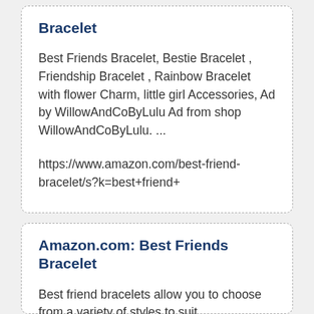Bracelet
Best Friends Bracelet, Bestie Bracelet , Friendship Bracelet , Rainbow Bracelet with flower Charm, little girl Accessories, Ad by WillowAndCoByLulu Ad from shop WillowAndCoByLulu. ...
https://www.amazon.com/best-friend-bracelet/s?k=best+friend+
Amazon.com: Best Friends Bracelet
Best friend bracelets allow you to choose from a variety of styles to suit